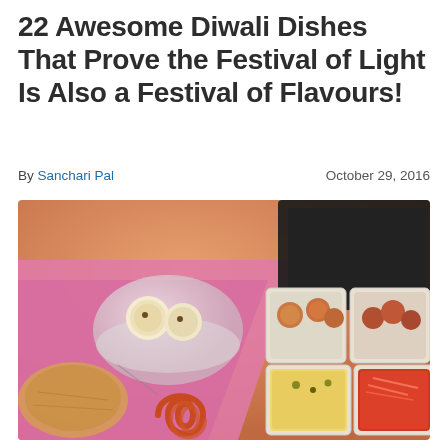22 Awesome Diwali Dishes That Prove the Festival of Light Is Also a Festival of Flavours!
By Sanchari Pal   October 29, 2016
[Figure (photo): A spread of Diwali dishes including sweets in a glass bowl, jalebi, and various colorful Indian dishes in white square bowls arranged on a pink tablecloth with dark tray in background.]